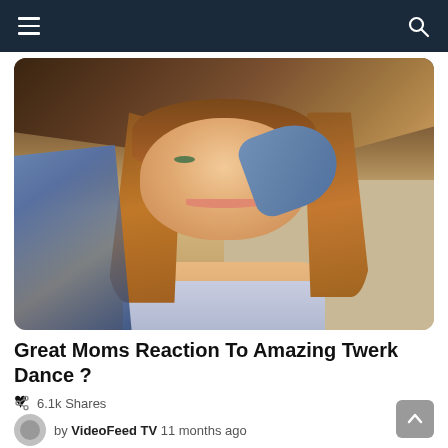Navigation bar with hamburger menu and search icon
[Figure (photo): Young woman with long reddish-brown hair, smiling, wearing a light blue/lavender top and holding a denim jacket, photographed indoors under a wooden ceiling/roof structure.]
Great Moms Reaction To Amazing Twerk Dance ? ♥
6.1k Shares
by VideoFeed TV  11 months ago